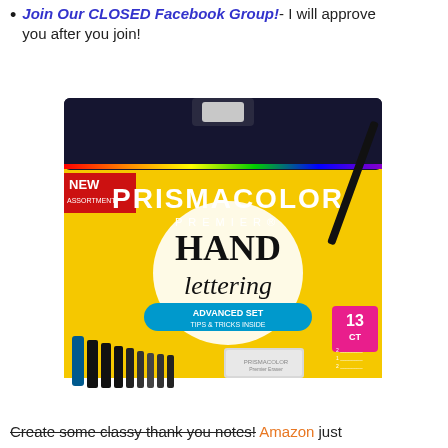Join Our CLOSED Facebook Group!- I will approve you after you join!
[Figure (photo): Prismacolor Premier Hand Lettering Advanced Set product box, 13ct, yellow and dark navy box with hand lettering design, showing pencils, markers, and eraser.]
Create some classy thank you notes! Amazon just